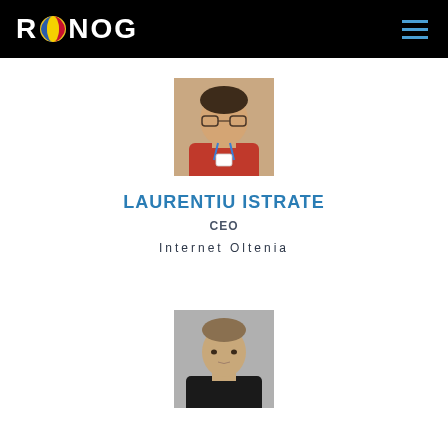RONOG
[Figure (photo): Headshot photo of Laurentiu Istrate, a man with glasses wearing a red shirt and conference badge lanyard]
LAURENTIU ISTRATE
CEO
Internet Oltenia
[Figure (photo): Headshot photo of a young man wearing a black shirt, against a grey background]